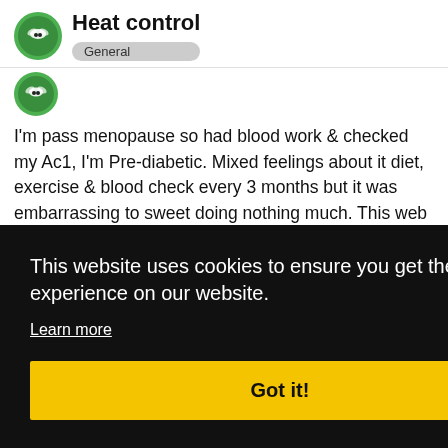Heat control — General
[Figure (logo): Green circular icon with insect/bee symbol, small avatar below]
I'm pass menopause so had blood work & checked my Ac1, I'm Pre-diabetic. Mixed feelings about it diet, exercise & blood check every 3 months but it was embarrassing to sweet doing nothing much. This web site helped: http://www.webmd.com/skin-problems-and-treatments/features/is-your-excessive-sweating-caused-by-a-medical-problem
This website uses cookies to ensure you get the best experience on our website. Learn more Got it!